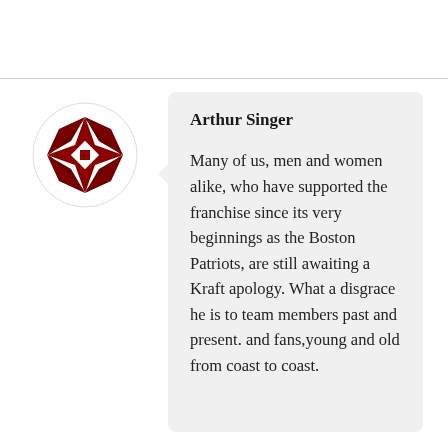[Figure (illustration): Dark red decorative snowflake/star avatar icon on white circular background]
Arthur Singer
Many of us, men and women alike, who have supported the franchise since its very beginnings as the Boston Patriots, are still awaiting a Kraft apology. What a disgrace he is to team members past and present. and fans,young and old from coast to coast.